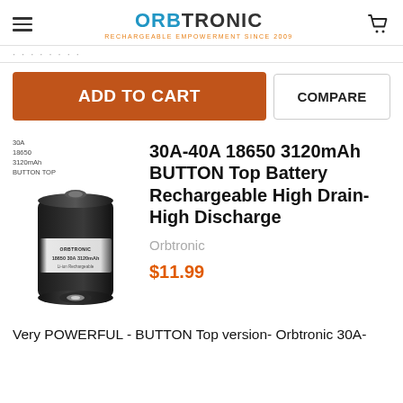ORBTRONIC - RECHARGEABLE EMPOWERMENT SINCE 2009
[Figure (screenshot): Orange 'ADD TO CART' button and 'COMPARE' button side by side]
[Figure (photo): Orbtronic 18650 black cylindrical battery with button top, label showing 30A 18650 3120mAh]
30A-40A 18650 3120mAh BUTTON Top Battery Rechargeable High Drain-High Discharge
Orbtronic
$11.99
Very POWERFUL - BUTTON Top version- Orbtronic 30A-